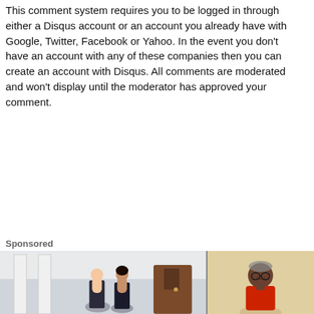This comment system requires you to be logged in through either a Disqus account or an account you already have with Google, Twitter, Facebook or Yahoo. In the event you don't have an account with any of these companies then you can create an account with Disqus. All comments are moderated and won't display until the moderator has approved your comment.
Sponsored
[Figure (photo): Two people in professional attire standing outside a building with columns and a wooden door, smiling.]
[Figure (photo): An elderly man wearing a red shirt, seated, looking downward.]